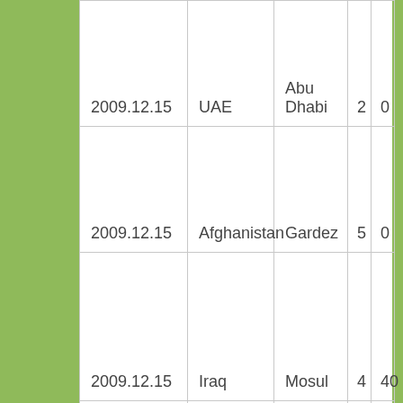| 2009.12.15 | UAE | Abu Dhabi | 2 | 0 |
| 2009.12.15 | Afghanistan | Gardez | 5 | 0 |
| 2009.12.15 | Iraq | Mosul | 4 | 40 |
| 2009.12.14 | Thailand | Pattani | 1 | 0 |